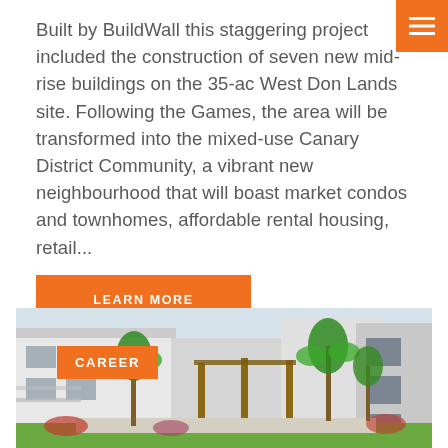Built by BuildWall this staggering project included the construction of seven new mid-rise buildings on the 35-ac West Don Lands site. Following the Games, the area will be transformed into the mixed-use Canary District Community, a vibrant new neighbourhood that will boast market condos and townhomes, affordable rental housing, retail...
[Figure (other): Orange square button with hamburger menu icon (three horizontal lines), positioned top-right corner]
LEARN MORE
[Figure (photo): Photograph of modern low-rise residential buildings with palm trees, tropical landscaping, green lawn, and covered walkway. White/grey contemporary architecture with large windows.]
CAREER